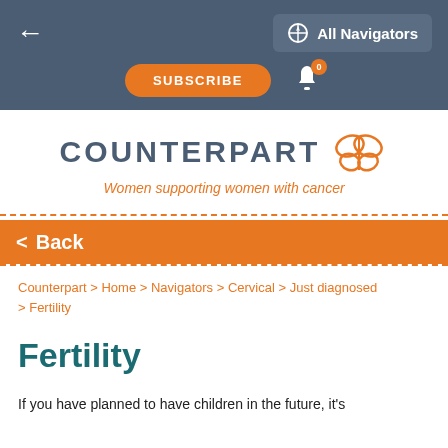← All Navigators | SUBSCRIBE | 0 notifications
[Figure (logo): Counterpart logo with butterfly icon and tagline 'Women supporting women with cancer']
< Back
Counterpart > Home > Navigators > Cervical > Just diagnosed > Fertility
Fertility
If you have planned to have children in the future, it's important that you understand your options now and